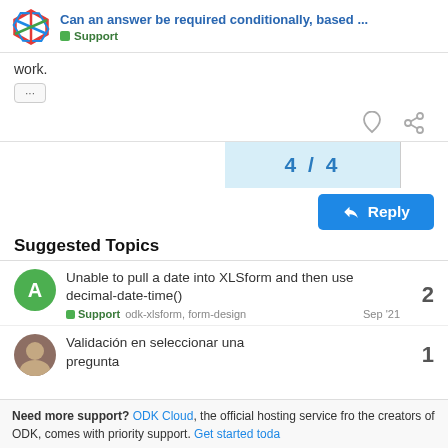Can an answer be required conditionally, based ... | Support
work.
Suggested Topics
Unable to pull a date into XLSform and then use decimal-date-time() — Support, odk-xlsform, form-design — Sep '21 — 2 replies
Validación en seleccionar una pregunta — 1 reply
Need more support? ODK Cloud, the official hosting service from the creators of ODK, comes with priority support. Get started toda...